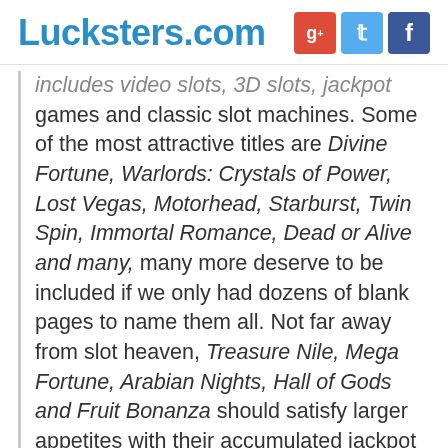Lucksters.com
includes video slots, 3D slots, jackpot games and classic slot machines. Some of the most attractive titles are Divine Fortune, Warlords: Crystals of Power, Lost Vegas, Motorhead, Starburst, Twin Spin, Immortal Romance, Dead or Alive and many, many more deserve to be included if we only had dozens of blank pages to name them all. Not far away from slot heaven, Treasure Nile, Mega Fortune, Arabian Nights, Hall of Gods and Fruit Bonanza should satisfy larger appetites with their accumulated jackpot prizes.
Table games, despite being seriously